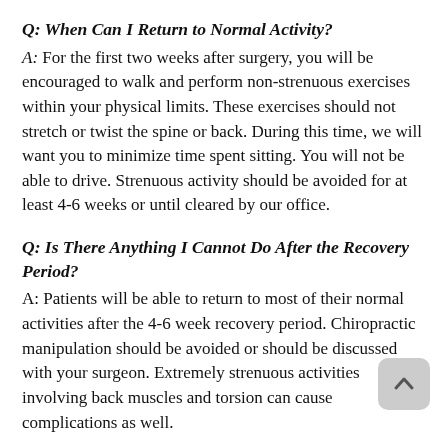Q: When Can I Return to Normal Activity?
A: For the first two weeks after surgery, you will be encouraged to walk and perform non-strenuous exercises within your physical limits. These exercises should not stretch or twist the spine or back. During this time, we will want you to minimize time spent sitting. You will not be able to drive. Strenuous activity should be avoided for at least 4-6 weeks or until cleared by our office.
Q: Is There Anything I Cannot Do After the Recovery Period?
A: Patients will be able to return to most of their normal activities after the 4-6 week recovery period. Chiropractic manipulation should be avoided or should be discussed with your surgeon. Extremely strenuous activities involving back muscles and torsion can cause complications as well.
Q: Will I Feel or See the Implant?